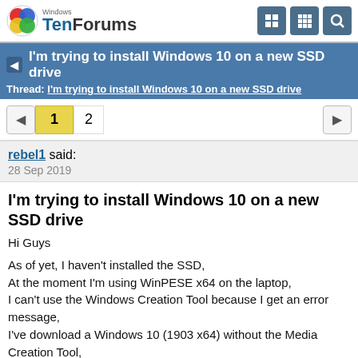Windows TenForums
I'm trying to install Windows 10 on a new SSD drive
Thread: I'm trying to install Windows 10 on a new SSD drive
1 2
rebel1 said:
28 Sep 2019
I'm trying to install Windows 10 on a new SSD drive
Hi Guys

As of yet, I haven't installed the SSD,
At the moment I'm using WinPESE x64 on the laptop,
I can't use the Windows Creation Tool because I get an error message,
I've download a Windows 10 (1903 x64) without the Media Creation Tool,
I have a USB stick formatted, but it is being...